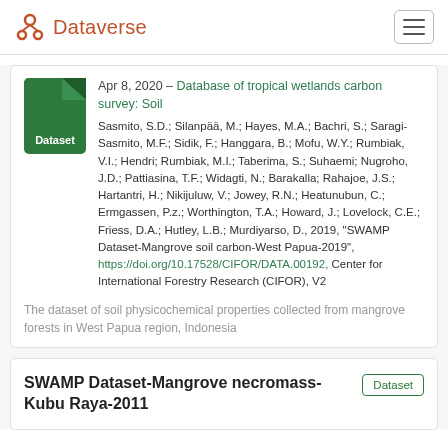Dataverse
Apr 8, 2020 – Database of tropical wetlands carbon survey: Soil
Sasmito, S.D.; Silanpää, M.; Hayes, M.A.; Bachri, S.; Saragi-Sasmito, M.F.; Sidik, F.; Hanggara, B.; Mofu, W.Y.; Rumbiak, V.I.; Hendri; Rumbiak, M.I.; Taberima, S.; Suhaemi; Nugroho, J.D.; Pattiasina, T.F.; Widagti, N.; Barakalla; Rahajoe, J.S.; Hartantri, H.; Nikijuluw, V.; Jowey, R.N.; Heatunubun, C.; Ermgassen, P.z.; Worthington, T.A.; Howard, J.; Lovelock, C.E.; Friess, D.A.; Hutley, L.B.; Murdiyarso, D., 2019, "SWAMP Dataset-Mangrove soil carbon-West Papua-2019", https://doi.org/10.17528/CIFOR/DATA.00192, Center for International Forestry Research (CIFOR), V2
The dataset of soil physicochemical properties collected from mangrove forests in West Papua region, Indonesia
SWAMP Dataset-Mangrove necromass-Kubu Raya-2011